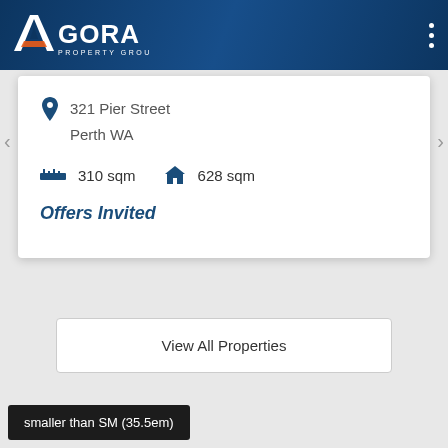AGORA PROPERTY GROUP
321 Pier Street
Perth WA
310 sqm  628 sqm
Offers Invited
View All Properties
smaller than SM (35.5em)